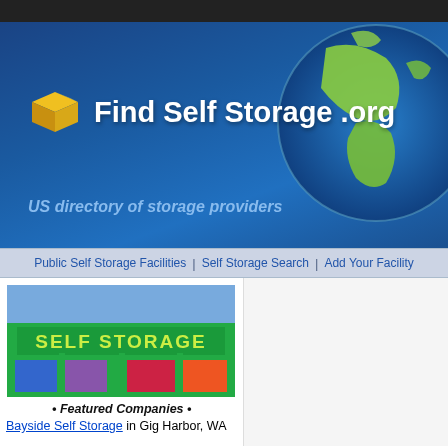[Figure (screenshot): Website header banner for FindSelfStorage.org with blue gradient background, yellow box icon, white bold title text 'Find Self Storage .org', blue italic tagline 'US directory of storage providers', and a globe graphic on the right]
Public Self Storage Facilities | Self Storage Search | Add Your Facility
[Figure (photo): Photo of a self storage facility with green exterior wall reading 'SELF STORAGE' and colorful garage doors (blue, purple, pink, orange) against a blue sky]
• Featured Companies •
Bayside Self Storage in Gig Harbor, WA
Bayside Mini Storage in Corvallis, CA